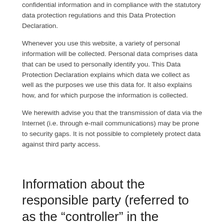confidential information and in compliance with the statutory data protection regulations and this Data Protection Declaration.
Whenever you use this website, a variety of personal information will be collected. Personal data comprises data that can be used to personally identify you. This Data Protection Declaration explains which data we collect as well as the purposes we use this data for. It also explains how, and for which purpose the information is collected.
We herewith advise you that the transmission of data via the Internet (i.e. through e-mail communications) may be prone to security gaps. It is not possible to completely protect data against third party access.
Information about the responsible party (referred to as the “controller” in the GDPR)
The data processing controller on this website is:
RuboLab GmbH
Neckarstr. 27
40219 Düsseldorf